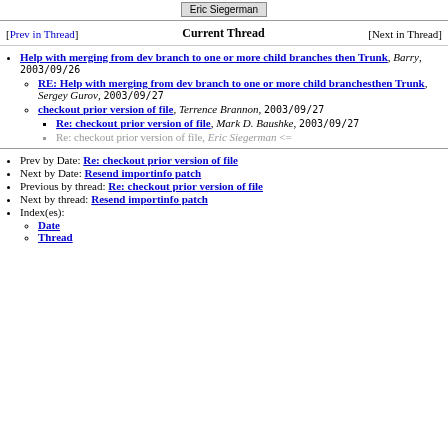Eric Siegerman
[Prev in Thread]   Current Thread   [Next in Thread]
Help with merging from dev branch to one or more child branches then Trunk, Barry, 2003/09/26
RE: Help with merging from dev branch to one or more child branchesthen Trunk, Sergey Gurov, 2003/09/27
checkout prior version of file, Terrence Brannon, 2003/09/27
Re: checkout prior version of file, Mark D. Baushke, 2003/09/27
Re: checkout prior version of file, Eric Siegerman <=
Prev by Date: Re: checkout prior version of file
Next by Date: Resend importinfo patch
Previous by thread: Re: checkout prior version of file
Next by thread: Resend importinfo patch
Index(es):
Date
Thread